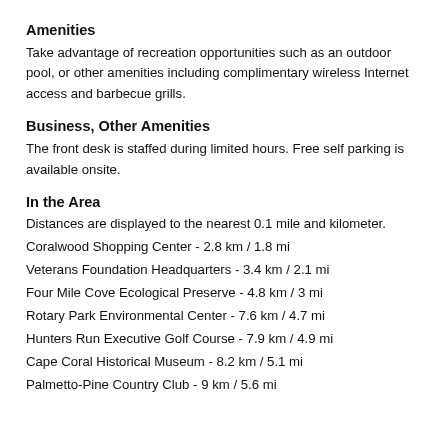Amenities
Take advantage of recreation opportunities such as an outdoor pool, or other amenities including complimentary wireless Internet access and barbecue grills.
Business, Other Amenities
The front desk is staffed during limited hours. Free self parking is available onsite.
In the Area
Distances are displayed to the nearest 0.1 mile and kilometer.
Coralwood Shopping Center - 2.8 km / 1.8 mi
Veterans Foundation Headquarters - 3.4 km / 2.1 mi
Four Mile Cove Ecological Preserve - 4.8 km / 3 mi
Rotary Park Environmental Center - 7.6 km / 4.7 mi
Hunters Run Executive Golf Course - 7.9 km / 4.9 mi
Cape Coral Historical Museum - 8.2 km / 5.1 mi
Palmetto-Pine Country Club - 9 km / 5.6 mi